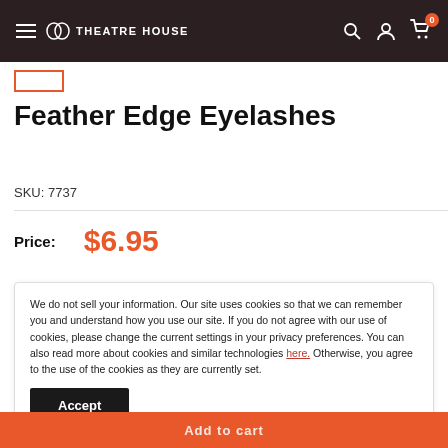Theatre House
[Figure (screenshot): Back button with orange border]
Feather Edge Eyelashes
SKU: 7737
Price: $6.95
We do not sell your information. Our site uses cookies so that we can remember you and understand how you use our site. If you do not agree with our use of cookies, please change the current settings in your privacy preferences. You can also read more about cookies and similar technologies here. Otherwise, you agree to the use of the cookies as they are currently set.
Accept